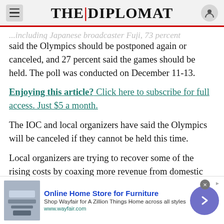THE DIPLOMAT
...said the Olympics should be postponed again or canceled, and 27 percent said the games should be held. The poll was conducted on December 11-13.
Enjoying this article? Click here to subscribe for full access. Just $5 a month.
The IOC and local organizers have said the Olympics will be canceled if they cannot be held this time.
Local organizers are trying to recover some of the rising costs by coaxing more revenue from domestic sponsors. About 70 sponsors have already contributed a record $3.3 billion, driven by Dentsu
[Figure (infographic): Advertisement banner for Wayfair Online Home Store for Furniture with product image, ad text, and navigation arrow button]